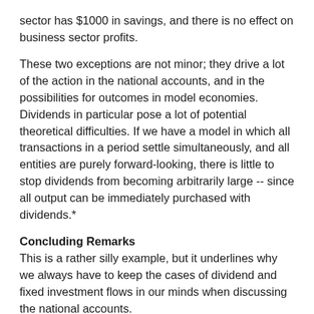sector has $1000 in savings, and there is no effect on business sector profits.
These two exceptions are not minor; they drive a lot of the action in the national accounts, and in the possibilities for outcomes in model economies. Dividends in particular pose a lot of potential theoretical difficulties. If we have a model in which all transactions in a period settle simultaneously, and all entities are purely forward-looking, there is little to stop dividends from becoming arbitrarily large -- since all output can be immediately purchased with dividends.*
Concluding Remarks
This is a rather silly example, but it underlines why we always have to keep the cases of dividend and fixed investment flows in our minds when discussing the national accounts.
* Anyone with a background in control systems engineering will recognise this as being the highly annoying case where the "D matrix" is non-zero. About 90% of the annoyance factor of controls proofs deals with that case.